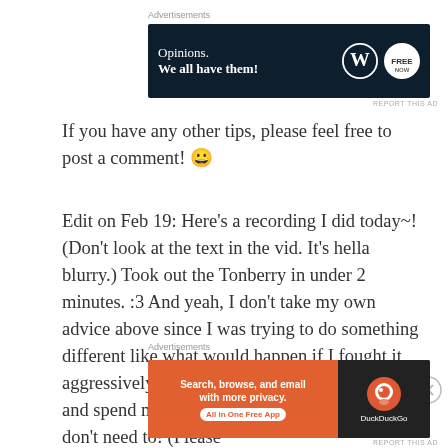[Figure (screenshot): Advertisement banner: dark navy background with text 'Opinions. We all have them!' and WordPress and another logo on the right]
REPORT THIS AD
If you have any other tips, please feel free to post a comment! 😀
Edit on Feb 19: Here's a recording I did today~! (Don't look at the text in the vid. It's hella blurry.) Took out the Tonberry in under 2 minutes. :3 And yeah, I don't take my own advice above since I was trying to do something different like what would happen if I fought it aggressively.  I'm usually much more reserved and spend more time healing. ^^  Turns out I don't need to! (Please
[Figure (screenshot): Advertisement banner: DuckDuckGo ad with orange left side reading 'Search, browse, and email with more privacy. All in One Free App' and dark right side with DuckDuckGo logo]
REPORT THIS AD